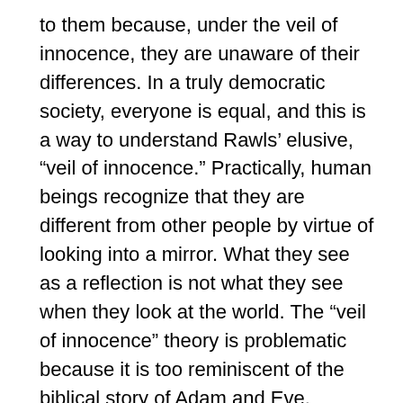to them because, under the veil of innocence, they are unaware of their differences. In a truly democratic society, everyone is equal, and this is a way to understand Rawls’ elusive, “veil of innocence.” Practically, human beings recognize that they are different from other people by virtue of looking into a mirror. What they see as a reflection is not what they see when they look at the world. The “veil of innocence” theory is problematic because it is too reminiscent of the biblical story of Adam and Eve.
Martin Luther King Jr. was a man ahead of his time. As a Christian pastor, he took a stand against the injustices against Negros in America during the 1960s. Blacks were “separate but equal,” which was a despicable concept in a democratic society.